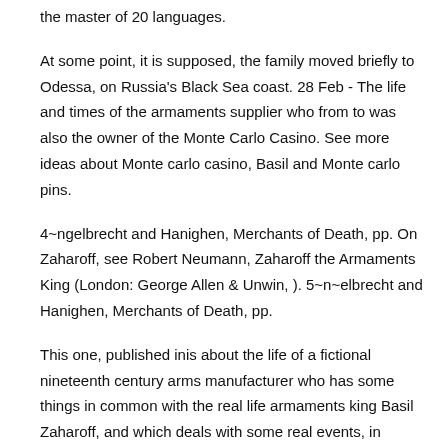the master of 20 languages.
At some point, it is supposed, the family moved briefly to Odessa, on Russia's Black Sea coast. 28 Feb - The life and times of the armaments supplier who from to was also the owner of the Monte Carlo Casino. See more ideas about Monte carlo casino, Basil and Monte carlo pins.
4~ngelbrecht and Hanighen, Merchants of Death, pp. On Zaharoff, see Robert Neumann, Zaharoff the Armaments King (London: George Allen & Unwin, ). 5~n~elbrecht and Hanighen, Merchants of Death, pp.
This one, published inis about the life of a fictional nineteenth century arms manufacturer who has some things in common with the real life armaments king Basil Zaharoff, and which deals with some real events, in particular the financial 'panic' of /5.
A "Good" Book. The problem with asking for a "good book" is that "good" is a highly subjective r, one text that is "good", in the sense that it was written while its subject was still alive, includes material